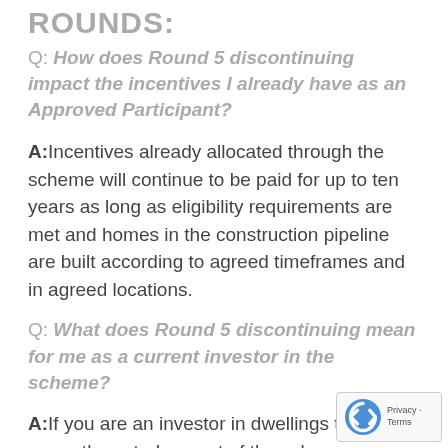ROUNDS:
Q: How does Round 5 discontinuing impact the incentives I already have as an Approved Participant?
A: Incentives already allocated through the scheme will continue to be paid for up to ten years as long as eligibility requirements are met and homes in the construction pipeline are built according to agreed timeframes and in agreed locations.
Q: What does Round 5 discontinuing mean for me as a current investor in the scheme?
A: If you are an investor in dwellings that are currently rented as part of the scheme